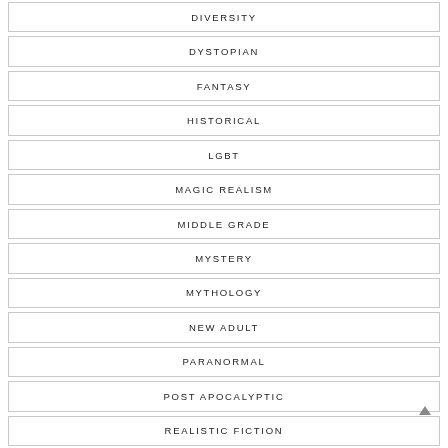DIVERSITY
DYSTOPIAN
FANTASY
HISTORICAL
LGBT
MAGIC REALISM
MIDDLE GRADE
MYSTERY
MYTHOLOGY
NEW ADULT
PARANORMAL
POST APOCALYPTIC
REALISTIC FICTION